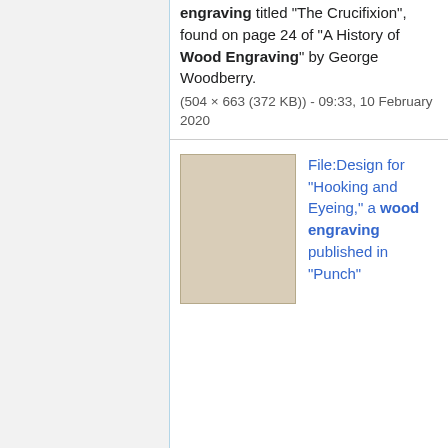engraving titled "The Crucifixion", found on page 24 of "A History of Wood Engraving" by George Woodberry.
(504 × 663 (372 KB)) - 09:33, 10 February 2020
[Figure (photo): Thumbnail image of a beige/tan colored paper or board, likely the design for 'Hooking and Eyeing,' a wood engraving published in Punch.]
File:Design for "Hooking and Eyeing," a wood engraving published in "Punch"